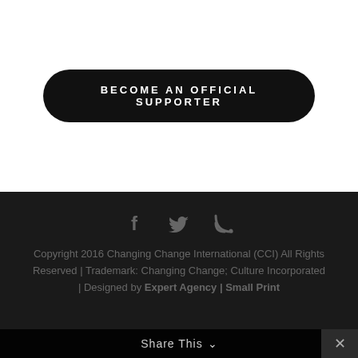BECOME AN OFFICIAL SUPPORTER
[Figure (other): Social media icons: Facebook (f), Twitter (bird), RSS feed icon]
Copyright 2016 Changing Change International (CCI) All Rights Reserved | Trademark: Changing Change; Culture Incorporated | Designed by Expert Agency | Small Print
Share This